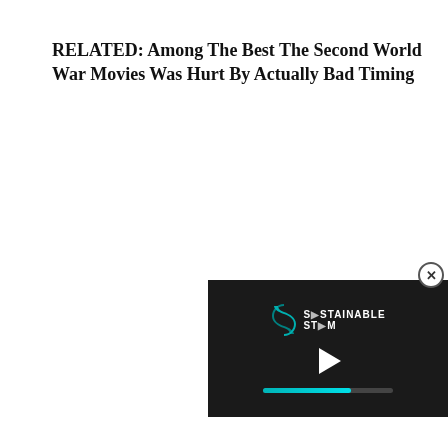RELATED: Among The Best The Second World War Movies Was Hurt By Actually Bad Timing
[Figure (screenshot): A video player overlay with a dark background showing a 'Sustainable Stream' logo with a teal play button icon, a white play button triangle, and a teal progress bar near the bottom. A close (X) button appears above the video in a circle.]